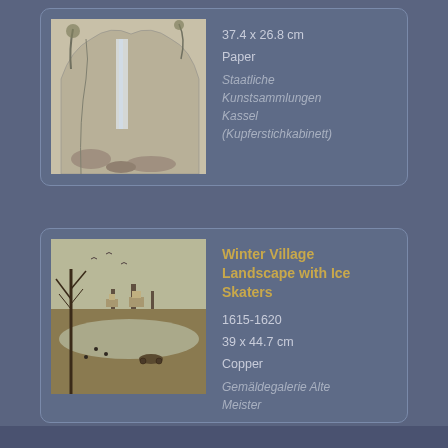[Figure (illustration): Partial card showing a cave/waterfall pencil drawing (top portion cut off). Metadata shown: 37.4 x 26.8 cm, Paper. Institution: Staatliche Kunstsammlungen Kassel (Kupferstichkabinett).]
[Figure (illustration): Card showing a winter village landscape painting with ice skaters. Title: Winter Village Landscape with Ice Skaters. Date: 1615-1620. Dimensions: 39 x 44.7 cm. Medium: Copper. Institution: Gemäldegalerie Alte Meister.]